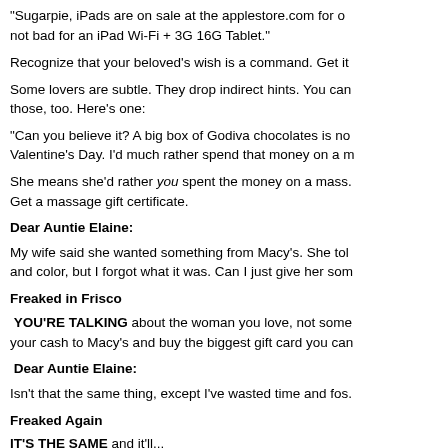"Sugarpie, iPads are on sale at the applestore.com for o... not bad for an iPad Wi-Fi + 3G 16G Tablet."
Recognize that your beloved's wish is a command. Get it
Some lovers are subtle. They drop indirect hints. You can those, too. Here's one:
"Can you believe it? A big box of Godiva chocolates is no Valentine's Day. I'd much rather spend that money on a m
She means she'd rather you spent the money on a mass. Get a massage gift certificate.
Dear Auntie Elaine:
My wife said she wanted something from Macy's. She tol and color, but I forgot what it was. Can I just give her som
Freaked in Frisco
YOU'RE TALKING about the woman you love, not some your cash to Macy's and buy the biggest gift card you can
Dear Auntie Elaine:
Isn't that the same thing, except I've wasted time and fos.
Freaked Again
IT'S THE SAME and it'll...